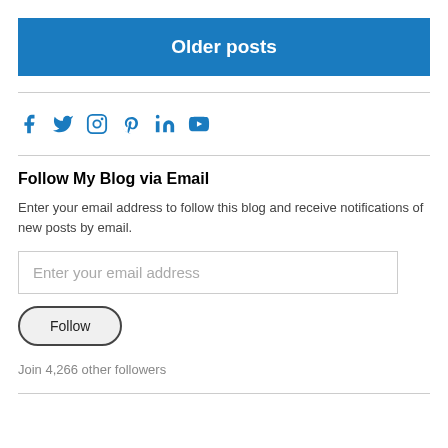Older posts
[Figure (infographic): Social media icons: Facebook, Twitter, Instagram, Pinterest, LinkedIn, YouTube — all in blue]
Follow My Blog via Email
Enter your email address to follow this blog and receive notifications of new posts by email.
Enter your email address
Follow
Join 4,266 other followers